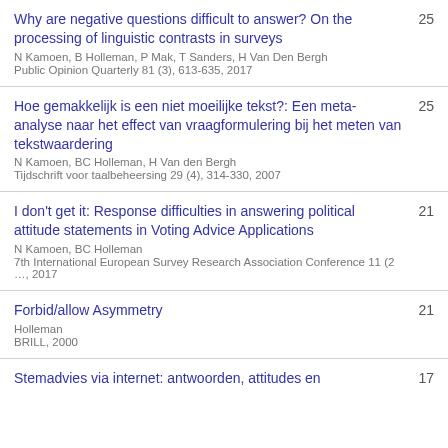Why are negative questions difficult to answer? On the processing of linguistic contrasts in surveys | N Kamoen, B Holleman, P Mak, T Sanders, H Van Den Bergh | Public Opinion Quarterly 81 (3), 613-635, 2017 | 25
Hoe gemakkelijk is een niet moeilijke tekst?: Een meta-analyse naar het effect van vraagformulering bij het meten van tekstwaardering | N Kamoen, BC Holleman, H Van den Bergh | Tijdschrift voor taalbeheersing 29 (4), 314-330, 2007 | 25
I don't get it: Response difficulties in answering political attitude statements in Voting Advice Applications | N Kamoen, BC Holleman | 7th International European Survey Research Association Conference 11 (2 …, 2017 | 21
Forbid/allow Asymmetry | Holleman | BRILL, 2000 | 21
Stemadvies via internet: antwoorden, attitudes en | 17